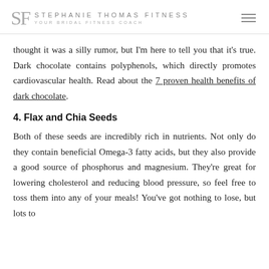SF STEPHANIE THOMAS FITNESS YOUR BRIDAL FITNESS COACH
thought it was a silly rumor, but I'm here to tell you that it's true. Dark chocolate contains polyphenols, which directly promotes cardiovascular health. Read about the 7 proven health benefits of dark chocolate.
4. Flax and Chia Seeds
Both of these seeds are incredibly rich in nutrients. Not only do they contain beneficial Omega-3 fatty acids, but they also provide a good source of phosphorus and magnesium. They're great for lowering cholesterol and reducing blood pressure, so feel free to toss them into any of your meals! You've got nothing to lose, but lots to